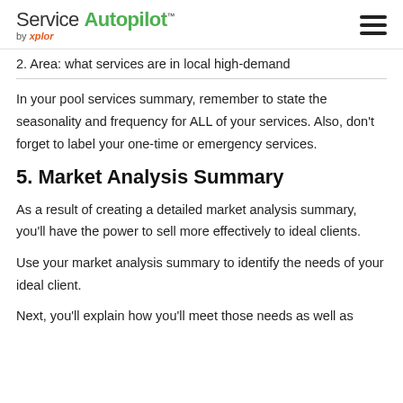Service Autopilot by xplor
2. Area: what services are in local high-demand
In your pool services summary, remember to state the seasonality and frequency for ALL of your services. Also, don't forget to label your one-time or emergency services.
5. Market Analysis Summary
As a result of creating a detailed market analysis summary, you'll have the power to sell more effectively to ideal clients.
Use your market analysis summary to identify the needs of your ideal client.
Next, you'll explain how you'll meet those needs as well as